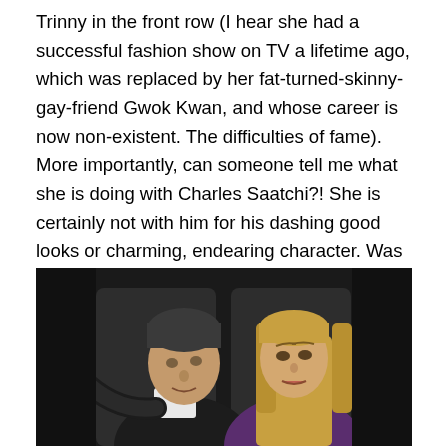Trinny in the front row (I hear she had a successful fashion show on TV a lifetime ago, which was replaced by her fat-turned-skinny-gay-friend Gwok Kwan, and whose career is now non-existent. The difficulties of fame). More importantly, can someone tell me what she is doing with Charles Saatchi?! She is certainly not with him for his dashing good looks or charming, endearing character. Was she hibernating in Antartica when he throttled Nigella, divorced 3 times, and confessed to being a narcissistic, reclusive, egotist?? I want to go up to her and hug her and tell her she’s better than this.
[Figure (photo): A man and a woman seated in a car. The man is on the left, dark hair, wearing a dark jacket and white shirt, reaching toward the window frame. The woman is on the right, long blonde hair, wearing a purple/dark jacket. Yellow car door handles visible on both sides.]